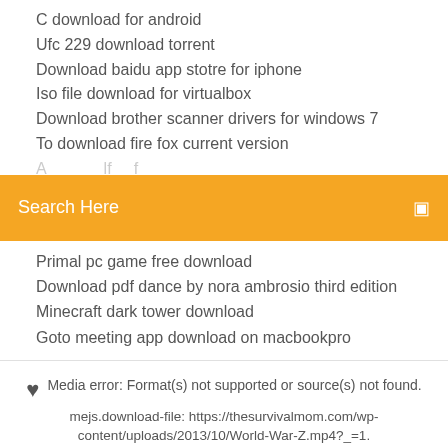C download for android
Ufc 229 download torrent
Download baidu app stotre for iphone
Iso file download for virtualbox
Download brother scanner drivers for windows 7
To download fire fox current version
[Figure (screenshot): Orange search bar with text 'Search Here' and a search icon on the right]
Primal pc game free download
Download pdf dance by nora ambrosio third edition
Minecraft dark tower download
Goto meeting app download on macbookpro
Media error: Format(s) not supported or source(s) not found.
mejs.download-file: https://thesurvivalmom.com/wp-content/uploads/2013/10/World-War-Z.mp4?_=1.